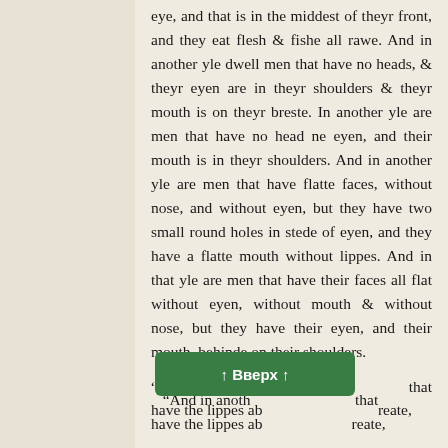eye, and that is in the middest of theyr front, and they eat flesh & fishe all rawe. And in another yle dwell men that have no heads, & theyr eyen are in theyr shoulders & theyr mouth is on theyr breste. In another yle are men that have no head ne eyen, and their mouth is in theyr shoulders. And in another yle are men that have flatte faces, without nose, and without eyen, but they have two small round holes in stede of eyen, and they have a flatte mouth without lippes. And in that yle are men that have their faces all flat without eyen, without mouth & without nose, but they have their eyen, and their mouth, behinde on their shoulders.
“And in anoth[er yle are men] that have the lippes about the mouth so greate,